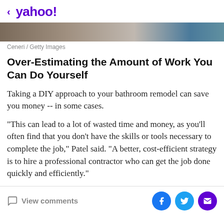< yahoo!
[Figure (photo): Partial image strip showing a bathroom or home renovation photo]
Ceneri / Getty Images
Over-Estimating the Amount of Work You Can Do Yourself
Taking a DIY approach to your bathroom remodel can save you money -- in some cases.
"This can lead to a lot of wasted time and money, as you'll often find that you don't have the skills or tools necessary to complete the job," Patel said. "A better, cost-efficient strategy is to hire a professional contractor who can get the job done quickly and efficiently."
View comments